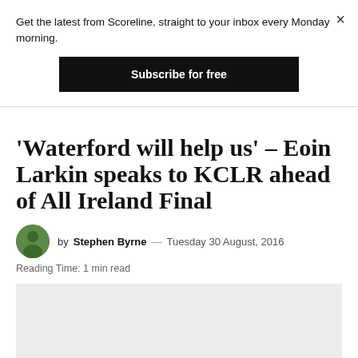Get the latest from Scoreline, straight to your inbox every Monday morning.
Subscribe for free
'Waterford will help us' – Eoin Larkin speaks to KCLR ahead of All Ireland Final
by Stephen Byrne — Tuesday 30 August, 2016
Reading Time: 1 min read
[Figure (photo): Light grey rectangular image placeholder]